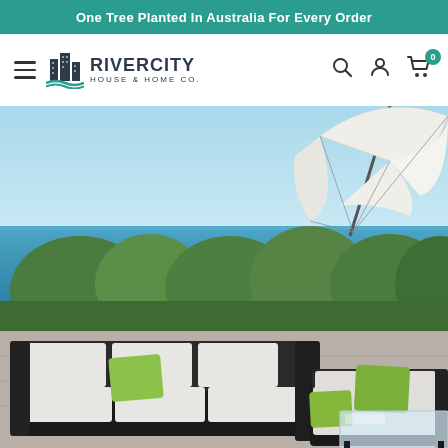One Tree Planted In Australia For Every Order
[Figure (logo): RiverCity House & Home Co. logo with building/city icon]
[Figure (photo): Outdoor rattan sectional sofa set with white cushions and green throw pillows, glass coffee table, ocean and garden background, patio umbrella visible in upper right]